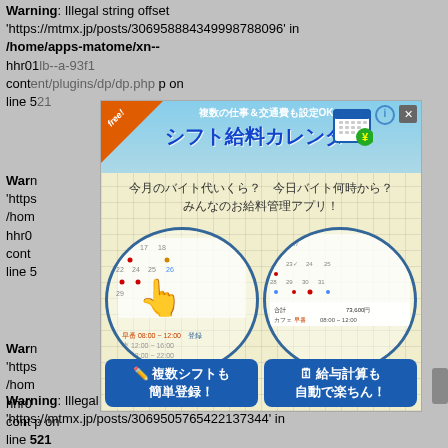Warning: Illegal string offset 'https://mtmx.jp/posts/306958884349998788096' in /home/apps-matome/xn--hhr01lb--a-93f1 content/plugins/dp/dp.php on line 5
[Figure (screenshot): Japanese mobile app advertisement for 'Shift Salary Calendar' app showing calendar screenshots and feature descriptions]
Warning: Illegal string offset 'https... /home... hhr0... cont... p on line 5
Warning: Illegal string offset 'https... /home... hhr0... cont... p on line 521
Warning: Illegal string offset 'https://mtmx.jp/posts/306950576542213734 4' in